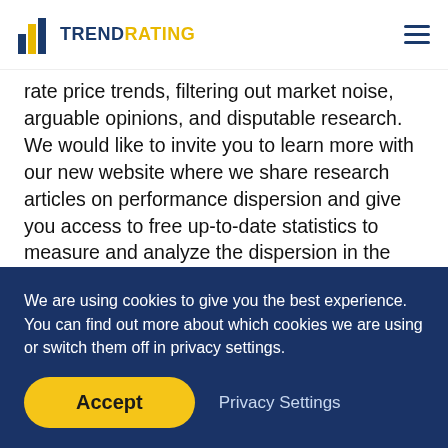TrendRating
rate price trends, filtering out market noise, arguable opinions, and disputable research. We would like to invite you to learn more with our new website where we share research articles on performance dispersion and give you access to free up-to-date statistics to measure and analyze the dispersion in the markets and sectors of your interest.
We are already serving more than 200 institutional
We are using cookies to give you the best experience. You can find out more about which cookies we are using or switch them off in privacy settings.
Accept
Privacy Settings